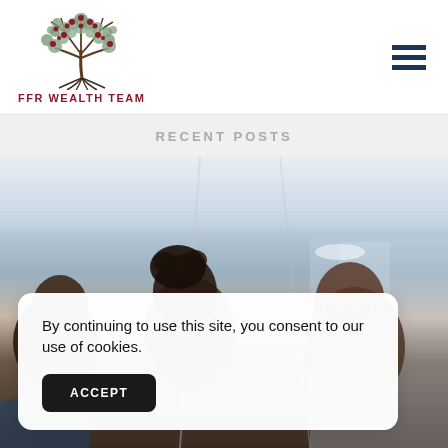FFR WEALTH TEAM
RECENT POSTS
[Figure (photo): Three people in conversation at what appears to be a restaurant or cafe, with a bright ceiling in the background. A man on the left, a person with curly hair in the middle, and a man wearing glasses on the right.]
By continuing to use this site, you consent to our use of cookies.
ACCEPT